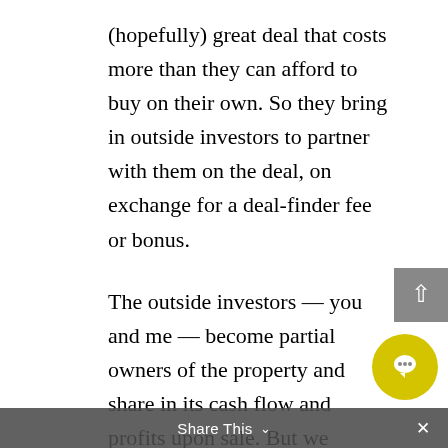(hopefully) great deal that costs more than they can afford to buy on their own. So they bring in outside investors to partner with them on the deal, on exchange for a deal-finder fee or bonus.
The outside investors — you and me — become partial owners of the property and share in its cash flow and profits upon sale. But we surrender most management decisions to the syndicator, the person who found and continues to oversee the deal.
We get to invest fractionally in a large real estate project, such as an apartment building that we would never be able to buy